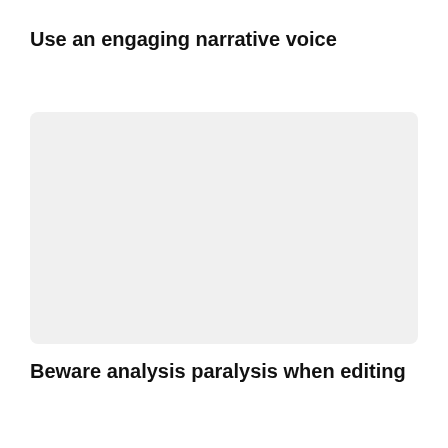Use an engaging narrative voice
[Figure (other): A blank light gray rectangular placeholder box with rounded corners]
Beware analysis paralysis when editing